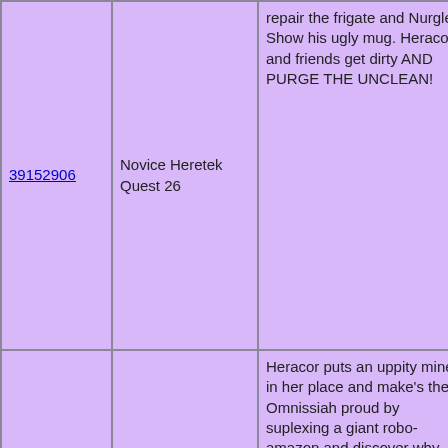| ID | Title | Description | Tags |
| --- | --- | --- | --- |
| 39152906 | Novice Heretek Quest 26 | repair the frigate and Nurgle Show his ugly mug. Heracor and friends get dirty AND PURGE THE UNCLEAN! | Collective Game, Axsisel, Novice Heretek Quest, Warhammer40k, techpriest, Nahive |
| 39217761 | Novice Heretek Quest 27 | Heracor puts an uppity miner in her place and make's the Omnissiah proud by suplexing a giant robo-amazon and discover why she was such a shit-boss. | Collective Game, Novice Heretek Quest, Warhammer40k, techpriest, Her... |
|  |  | In which we take the lead as the new leader of the Skitarius temple and get |  |